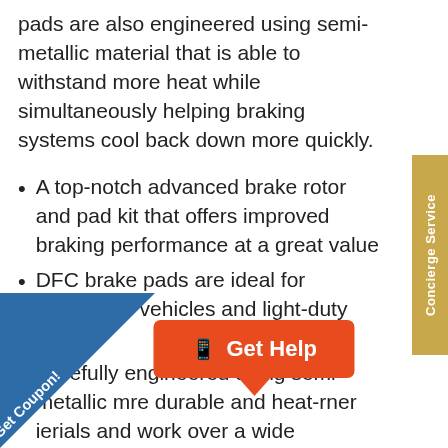pads are also engineered using semi-metallic material that is able to withstand more heat while simultaneously helping braking systems cool back down more quickly.
A top-notch advanced brake rotor and pad kit that offers improved braking performance at a great value
DFC brake pads are ideal for passenger vehicles and light-duty trucks
Carefully engineered using semi-metallic m...re durable and heat-r...her ...ierials and work over a wide ...rature range